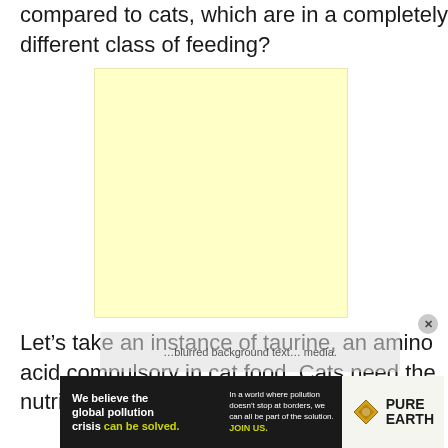compared to cats, which are in a completely different class of feeding?
[Figure (other): Light yellow advertisement placeholder box]
Let’s take an instance of taurine, an amino acid compulsory in cat food. Cats need the nutrient in
[Figure (other): Pure Earth advertisement banner at bottom: 'We believe the global pollution crisis can be solved.' with green text, and tagline 'In a world where pollution doesn’t stop at borders, we can all be part of the solution. JOIN US.']